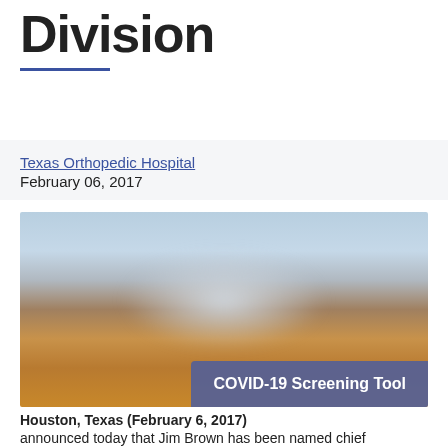Division
Texas Orthopedic Hospital
February 06, 2017
[Figure (photo): Blurred photo of medical or office items on a wooden desk, with light blue background]
Houston, Texas (February 6, 2017)
announced today that Jim Brown has been named chief